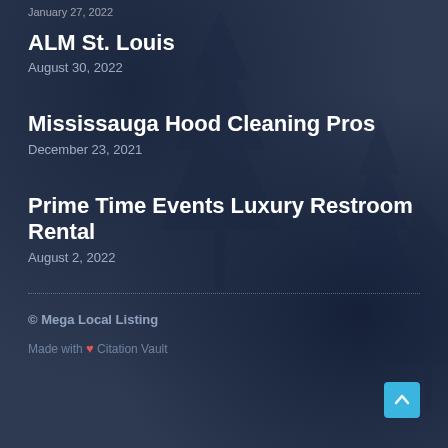January 27, 2022
ALM St. Louis
August 30, 2022
Mississauga Hood Cleaning Pros
December 23, 2021
Prime Time Events Luxury Restroom Rental
August 2, 2022
© Mega Local Listing
Made with ❤ Citation Vault